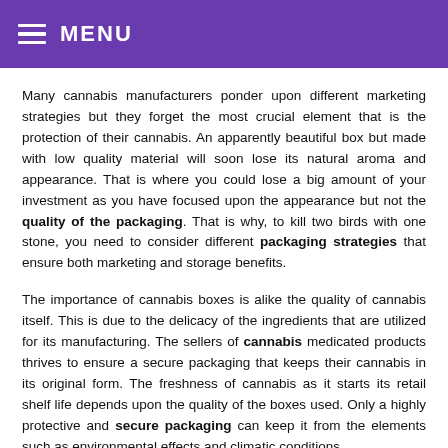MENU
Many cannabis manufacturers ponder upon different marketing strategies but they forget the most crucial element that is the protection of their cannabis. An apparently beautiful box but made with low quality material will soon lose its natural aroma and appearance. That is where you could lose a big amount of your investment as you have focused upon the appearance but not the quality of the packaging. That is why, to kill two birds with one stone, you need to consider different packaging strategies that ensure both marketing and storage benefits.
The importance of cannabis boxes is alike the quality of cannabis itself. This is due to the delicacy of the ingredients that are utilized for its manufacturing. The sellers of cannabis medicated products thrives to ensure a secure packaging that keeps their cannabis in its original form. The freshness of cannabis as it starts its retail shelf life depends upon the quality of the boxes used. Only a highly protective and secure packaging can keep it from the elements such as environmental effects and climatic conditions.